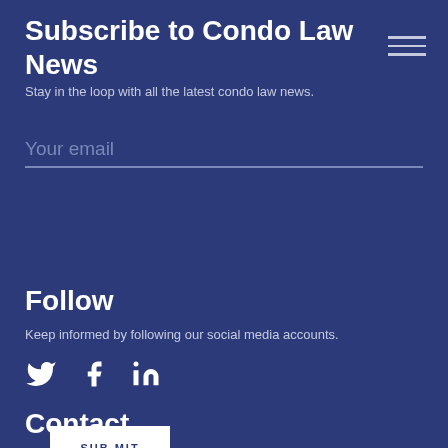Subscribe to Condo Law News
Stay in the loop with all the latest condo law news.
Your email
SUBMIT
Follow
Keep informed by following our social media accounts.
[Figure (infographic): Social media icons: Twitter bird, Facebook F, LinkedIn in]
Contact